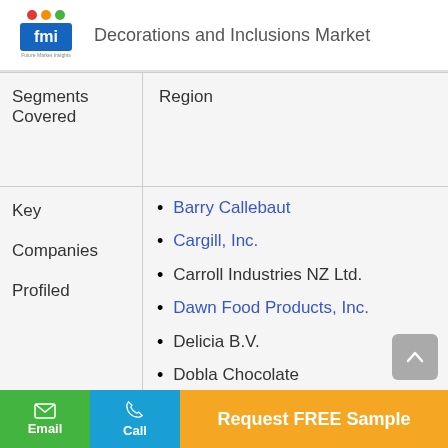Decorations and Inclusions Market
| Segments Covered | Region |
| --- | --- |
| Key Companies Profiled | Barry Callebaut, Cargill Inc., Carroll Industries NZ Ltd., Dawn Food Products Inc., Delicia B.V., Dobla Chocolate, Dr. Oetker AG, HLR praline |
Request FREE Sample
Email
Call